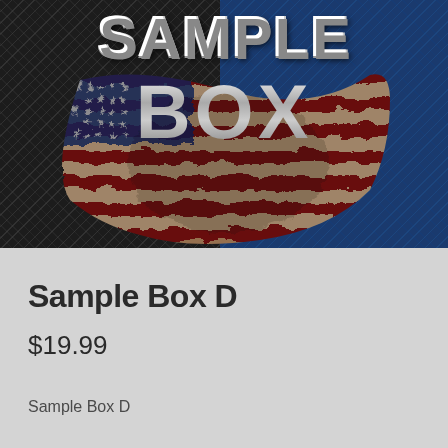[Figure (photo): Product image showing 'SAMPLE BOX' text in chrome/metallic lettering over a split carbon fiber background (black on left, blue on right) with a distressed American flag draped in the center]
Sample Box D
$19.99
Sample Box D